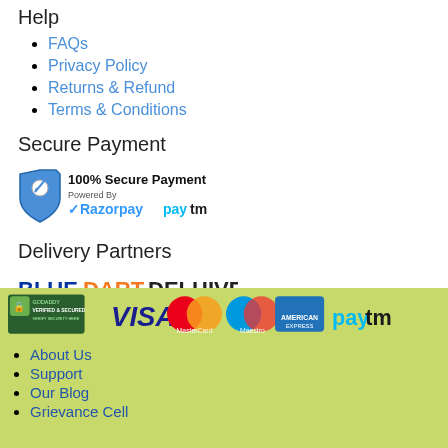Help
FAQs
Privacy Policy
Returns & Refund
Terms & Conditions
Secure Payment
[Figure (logo): 100% Secure Payment Powered By Razorpay and Paytm badge with shield icon]
Delivery Partners
[Figure (logo): Blue Dart and Delhivery delivery partner logos]
[Figure (infographic): Payment methods strip on green background: GoDaddy Verified & Secured, VISA, MasterCard, Maestro, American Express, Paytm]
About Us
Support
Our Blog
Grievance Cell